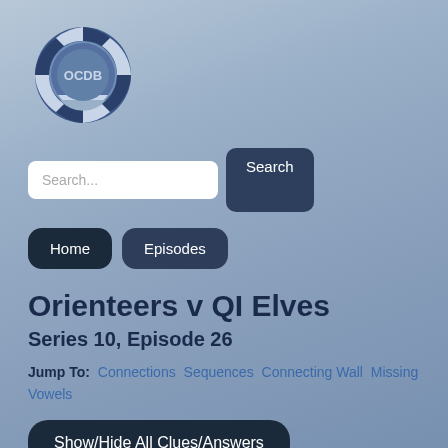[Figure (logo): OCDB circular logo with dark blue and white interlocking segments forming a ring, with 'OCDB' text in the center]
Search...
Search
Home
Episodes
Orienteers v QI Elves
Series 10, Episode 26
Jump To: Connections Sequences Connecting Wall Missing Vowels
Show/Hide All Clues/Answers
Connections